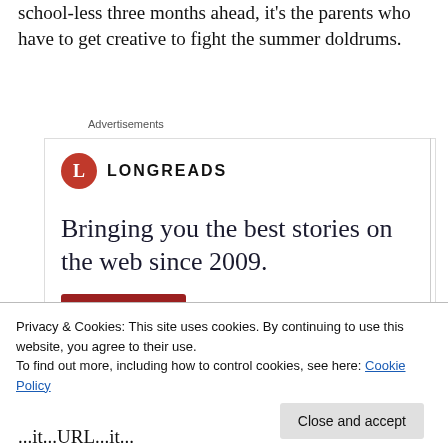school-less three months ahead, it's the parents who have to get creative to fight the summer doldrums.
Advertisements
[Figure (other): Longreads advertisement banner with logo (red circle with L), brand name LONGREADS, tagline 'Bringing you the best stories on the web since 2009.' and a red 'Start reading' button]
Privacy & Cookies: This site uses cookies. By continuing to use this website, you agree to their use.
To find out more, including how to control cookies, see here: Cookie Policy
Close and accept
...it...URL...it...